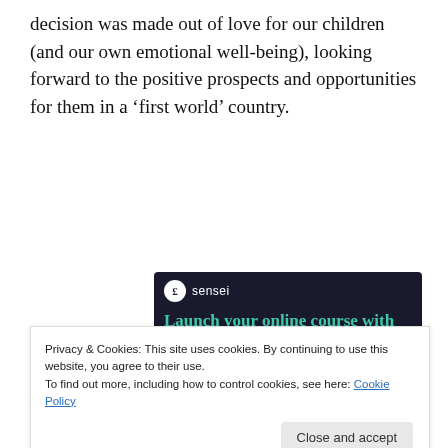decision was made out of love for our children (and our own emotional well-being), looking forward to the positive prospects and opportunities for them in a ‘first world’ country.
[Figure (screenshot): Advertisement banner for Sensei with dark navy background. Shows Sensei logo with a circular icon, the text 'Launch your online course with WordPress' in teal/green, and a 'Learn More' button in teal.]
Privacy & Cookies: This site uses cookies. By continuing to use this website, you agree to their use.
To find out more, including how to control cookies, see here: Cookie Policy
The first two to three years after our big move was